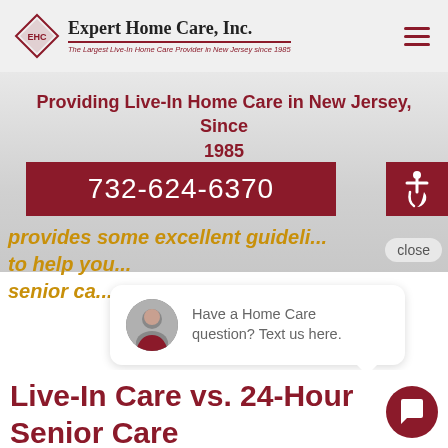[Figure (logo): Expert Home Care, Inc. logo with diamond shape and tagline: The Largest Live-In Home Care Provider in New Jersey since 1985]
Providing Live-In Home Care in New Jersey, Since 1985
732-624-6370
[Figure (other): Wheelchair accessibility icon button]
provides some excellent guideli... to help you... senior ca...
close
[Figure (photo): Chat avatar photo of a woman]
Have a Home Care question? Text us here.
Live-In Care vs. 24-Hour Senior Care
[Figure (other): Chat/message icon button circle]